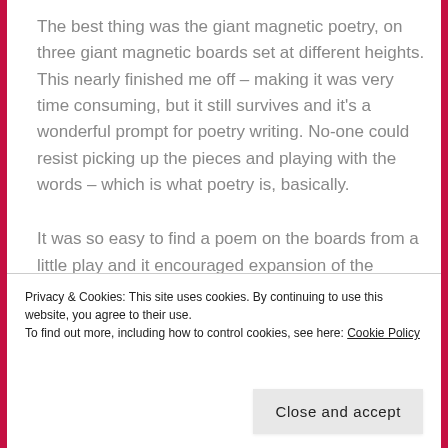The best thing was the giant magnetic poetry, on three giant magnetic boards set at different heights. This nearly finished me off – making it was very time consuming, but it still survives and it's a wonderful prompt for poetry writing. No-one could resist picking up the pieces and playing with the words – which is what poetry is, basically.
It was so easy to find a poem on the boards from a little play and it encouraged expansion of the original words into many, many poems written on the tables, illustrated
Privacy & Cookies: This site uses cookies. By continuing to use this website, you agree to their use.
To find out more, including how to control cookies, see here: Cookie Policy
Close and accept
off home to write more. Even if it was just that one lady,